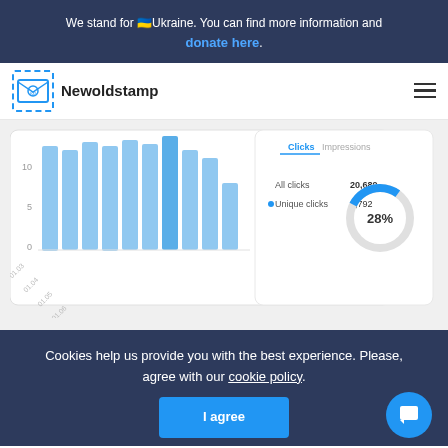We stand for 🇺🇦Ukraine. You can find more information and donate here.
[Figure (logo): Newoldstamp logo with email stamp icon and brand name]
[Figure (screenshot): Dashboard screenshot showing bar chart with clicks data, All clicks 20,689, Unique clicks 5,792, and a donut chart showing 28%]
Cookies help us provide you with the best experience. Please, agree with our cookie policy.
I agree